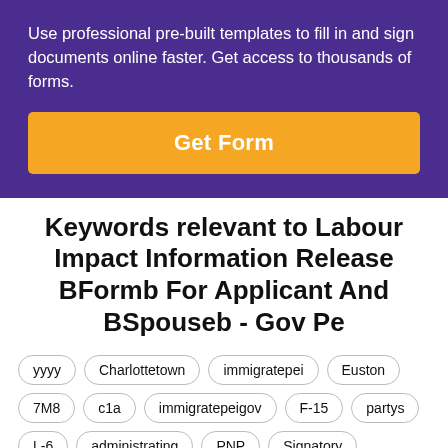Use professional pre-built templates to fill in and sign documents online faster. Get access to thousands of forms.
Get Form
Keywords relevant to Labour Impact Information Release BFormb For Applicant And BSpouseb - Gov Pe
yyyy
Charlottetown
immigratepei
Euston
7M8
c1a
immigratepeigov
F-15
partys
L-6
administrating
PNP
Signatory
undersigned
incorporates